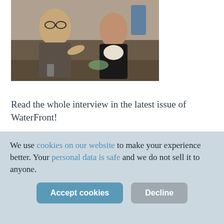[Figure (photo): Two people seated at a table in a meeting or conference setting. A man on the left wearing glasses and a grey jacket is gesturing with his finger. A woman on the right in a black jacket is listening attentively.]
Read the whole interview in the latest issue of WaterFront!
We use cookies on our website to make your experience better. Your personal data is safe and we do not sell it to anyone.